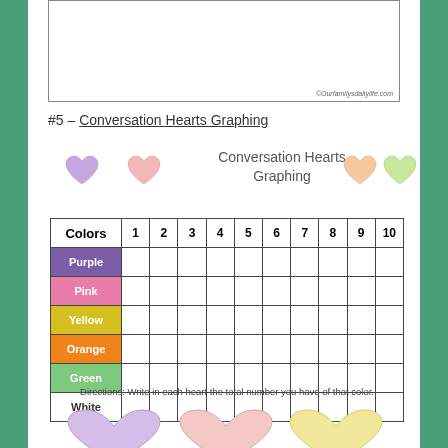[Figure (illustration): Partial white box at top of page with copyright credit ©Ourfamilysdailylife.com]
#5 – Conversation Hearts Graphing
[Figure (illustration): Row of pastel heart icons (purple, pink, orange, green) and centered title text 'Conversation Hearts Graphing']
| Colors | 1 | 2 | 3 | 4 | 5 | 6 | 7 | 8 | 9 | 10 |
| --- | --- | --- | --- | --- | --- | --- | --- | --- | --- | --- |
| Purple |  |  |  |  |  |  |  |  |  |  |
| Pink |  |  |  |  |  |  |  |  |  |  |
| Yellow |  |  |  |  |  |  |  |  |  |  |
| Orange |  |  |  |  |  |  |  |  |  |  |
| Green |  |  |  |  |  |  |  |  |  |  |
| White |  |  |  |  |  |  |  |  |  |  |
Directions: Write in each heart the total number you have of that color.
[Figure (illustration): Large pastel heart shapes partially visible at bottom of page (purple/lavender, pink, yellow)]